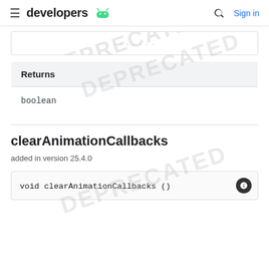developers [android logo]  Sign in
| Returns |
| --- |
| boolean |
clearAnimationCallbacks
added in version 25.4.0
void clearAnimationCallbacks ()